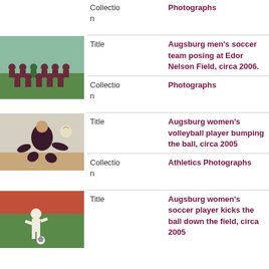Collection: Photographs
[Figure (photo): Augsburg men's soccer team posing at Edor Nelson Field, group photo outdoors]
Title: Augsburg men's soccer team posing at Edor Nelson Field, circa 2006.
Collection: Photographs
[Figure (photo): Augsburg women's volleyball player bumping the ball in gymnasium]
Title: Augsburg women's volleyball player bumping the ball, circa 2005
Collection: Athletics Photographs
[Figure (photo): Augsburg women's soccer player kicks the ball down the field]
Title: Augsburg women's soccer player kicks the ball down the field, circa 2005